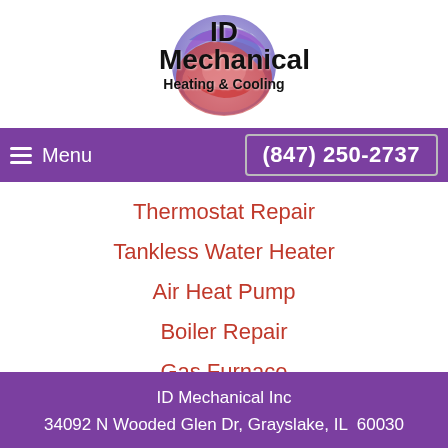[Figure (logo): ID Mechanical Heating & Cooling logo with swirling blue, purple, pink and red circular graphic]
Menu | (847) 250-2737
Thermostat Repair
Tankless Water Heater
Air Heat Pump
Boiler Repair
Gas Furnace
ID Mechanical Inc
34092 N Wooded Glen Dr, Grayslake, IL  60030